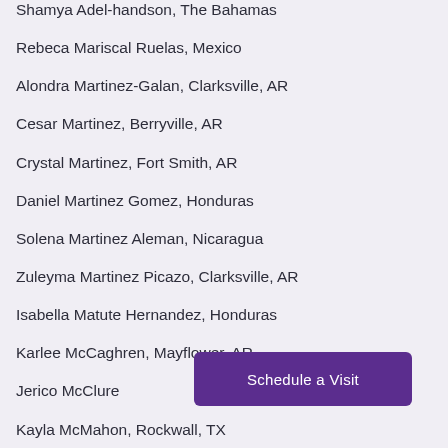Shamya Adel-handson, The Bahamas
Rebeca Mariscal Ruelas, Mexico
Alondra Martinez-Galan, Clarksville, AR
Cesar Martinez, Berryville, AR
Crystal Martinez, Fort Smith, AR
Daniel Martinez Gomez, Honduras
Solena Martinez Aleman, Nicaragua
Zuleyma Martinez Picazo, Clarksville, AR
Isabella Matute Hernandez, Honduras
Karlee McCaghren, Mayflower, AR
Jerico McClure
Kayla McMahon, Rockwall, TX